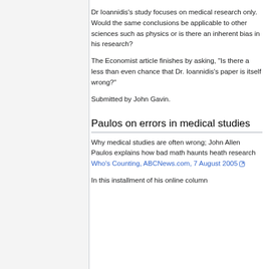Dr Ioannidis's study focuses on medical research only. Would the same conclusions be applicable to other sciences such as physics or is there an inherent bias in his research?
The Economist article finishes by asking, "Is there a less than even chance that Dr. Ioannidis's paper is itself wrong?"
Submitted by John Gavin.
Paulos on errors in medical studies
Why medical studies are often wrong; John Allen Paulos explains how bad math haunts heath research Who's Counting, ABCNews.com, 7 August 2005
In this installment of his online column